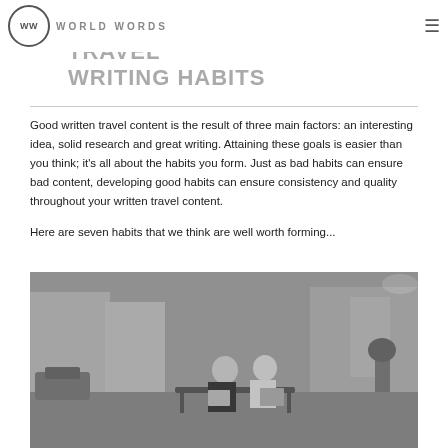WW WORLD WORDS
SEVEN VERY HANDY TRAVEL WRITING HABITS
Good written travel content is the result of three main factors: an interesting idea, solid research and great writing. Attaining these goals is easier than you think; it's all about the habits you form. Just as bad habits can ensure bad content, developing good habits can ensure consistency and quality throughout your written travel content.
Here are seven habits that we think are well worth forming...
[Figure (photo): Black and white photograph of two elderly people sitting on a bench outdoors reading newspapers/magazines, with a street scene in the background.]